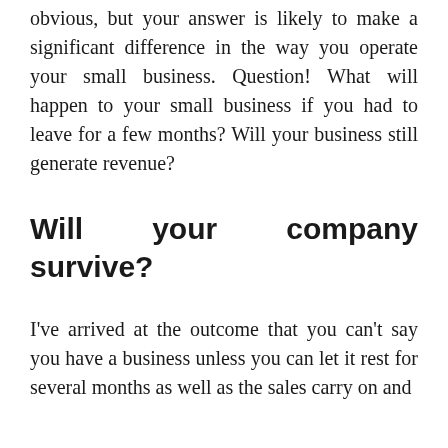obvious, but your answer is likely to make a significant difference in the way you operate your small business. Question! What will happen to your small business if you had to leave for a few months? Will your business still generate revenue?
Will your company survive?
I've arrived at the outcome that you can't say you have a business unless you can let it rest for several months as well as the sales carry on and